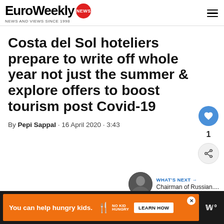EuroWeekly NEWS · NEWS AND VIEWS SINCE 1998
Costa del Sol hoteliers prepare to write off whole year not just the summer & explore offers to boost tourism post Covid-19
By Pepi Sappal · 16 April 2020 · 3:43
[Figure (other): Like/heart button (blue circle with heart icon) and share button below it, with count of 1]
[Figure (other): What's Next panel with thumbnail of a person and text: WHAT'S NEXT → Chairman of Russian....]
[Figure (other): Advertisement banner: orange bar with text 'You can help hungry kids.' No Kid Hungry logo and LEARN HOW button on dark background]